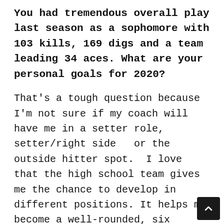You had tremendous overall play last season as a sophomore with 103 kills, 169 digs and a team leading 34 aces. What are your personal goals for 2020?
That's a tough question because I'm not sure if my coach will have me in a setter role, setter/right side  or the outside hitter spot.  I love that the high school team gives me the chance to develop in different positions. It helps me become a well-rounded, six rotation, versatile player – but it does create havoc for my stats. If I remain a